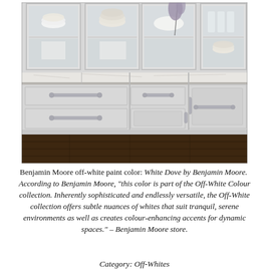[Figure (photo): Photo of white kitchen cabinets with glass upper doors displaying china and dishware, lower drawers and doors with silver bar handles, marble countertop, dark wood floor. Benjamin Moore White Dove off-white paint color.]
Benjamin Moore off-white paint color: White Dove by Benjamin Moore.  According to Benjamin Moore, “this color is part of the Off-White Colour collection. Inherently sophisticated and endlessly versatile, the Off-White collection offers subtle nuances of whites that suit tranquil, serene environments as well as creates colour-enhancing accents for dynamic spaces.” – Benjamin Moore store.
Category: Off-Whites